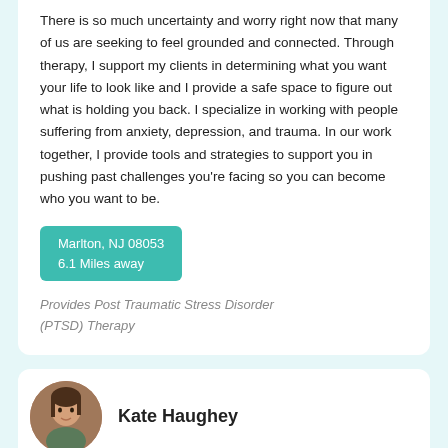There is so much uncertainty and worry right now that many of us are seeking to feel grounded and connected. Through therapy, I support my clients in determining what you want your life to look like and I provide a safe space to figure out what is holding you back. I specialize in working with people suffering from anxiety, depression, and trauma. In our work together, I provide tools and strategies to support you in pushing past challenges you're facing so you can become who you want to be.
Marlton, NJ 08053
6.1 Miles away
Provides Post Traumatic Stress Disorder (PTSD) Therapy
Kate Haughey